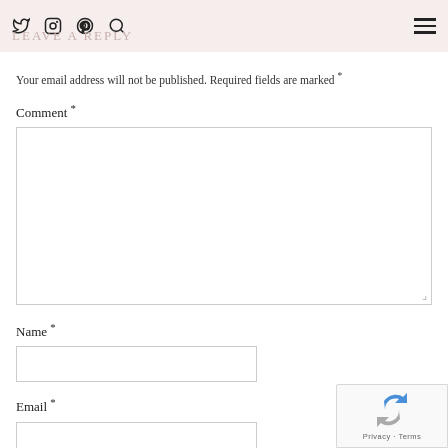LEAVE A REPLY
Your email address will not be published. Required fields are marked *
Comment *
Name *
Email *
[Figure (screenshot): reCAPTCHA badge with Privacy and Terms links]